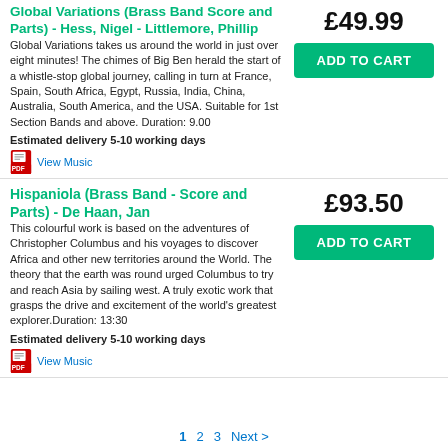Global Variations (Brass Band Score and Parts) - Hess, Nigel - Littlemore, Phillip
£49.99
ADD TO CART
Global Variations takes us around the world in just over eight minutes! The chimes of Big Ben herald the start of a whistle-stop global journey, calling in turn at France, Spain, South Africa, Egypt, Russia, India, China, Australia, South America, and the USA. Suitable for 1st Section Bands and above. Duration: 9.00
Estimated delivery 5-10 working days
View Music
Hispaniola (Brass Band - Score and Parts) - De Haan, Jan
£93.50
ADD TO CART
This colourful work is based on the adventures of Christopher Columbus and his voyages to discover Africa and other new territories around the World. The theory that the earth was round urged Columbus to try and reach Asia by sailing west. A truly exotic work that grasps the drive and excitement of the world's greatest explorer.Duration: 13:30
Estimated delivery 5-10 working days
View Music
1  2  3  Next >